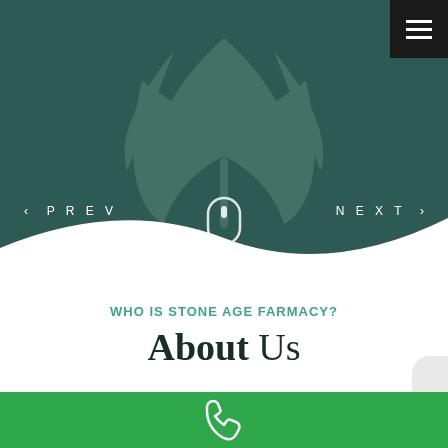[Figure (screenshot): Dark teal/green hero section with navigation arrows (PREV and NEXT), a cannabis leaf watermark in the background, a white wave curve at the bottom, and a mouse scroll icon]
< PREV
NEXT >
WHO IS STONE AGE FARMACY?
About Us
[Figure (other): Green footer bar with a white phone icon in the center]